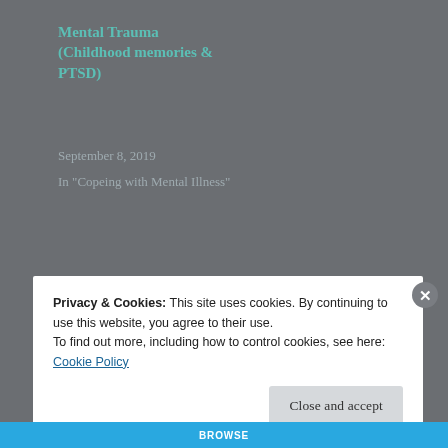Mental Trauma (Childhood memories & PTSD)
September 8, 2019
In "Copeing with Mental Illness"
Blogs of motherhood, Reflective Thoughts
#BLOGSOFMOTHERHOOD
#PARENTING
Privacy & Cookies: This site uses cookies. By continuing to use this website, you agree to their use.
To find out more, including how to control cookies, see here: Cookie Policy
Close and accept